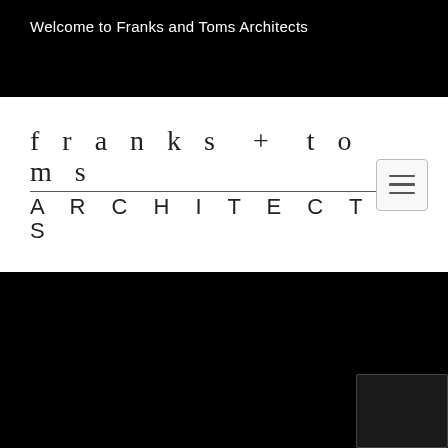Welcome to Franks and Toms Architects
franks + toms ARCHITECTS
[Figure (logo): franks + toms ARCHITECTS logo with menu button]
[Figure (photo): Black background section with partially visible UI element in bottom right corner]